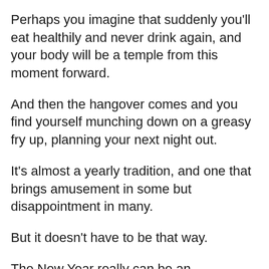Perhaps you imagine that suddenly you'll eat healthily and never drink again, and your body will be a temple from this moment forward.
And then the hangover comes and you find yourself munching down on a greasy fry up, planning your next night out.
It's almost a yearly tradition, and one that brings amusement in some but disappointment in many.
But it doesn't have to be that way.
The New Year really can be an opportunity to improve your life in many ways, as long as you keep your goals reasonable and stick to them.
This doesn't have to just stop at getting